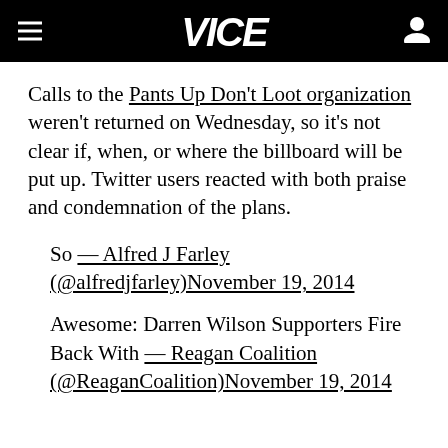VICE
Calls to the Pants Up Don't Loot organization weren't returned on Wednesday, so it's not clear if, when, or where the billboard will be put up. Twitter users reacted with both praise and condemnation of the plans.
So — Alfred J Farley (@alfredjfarley)November 19, 2014
Awesome: Darren Wilson Supporters Fire Back With — Reagan Coalition (@ReaganCoalition)November 19, 2014